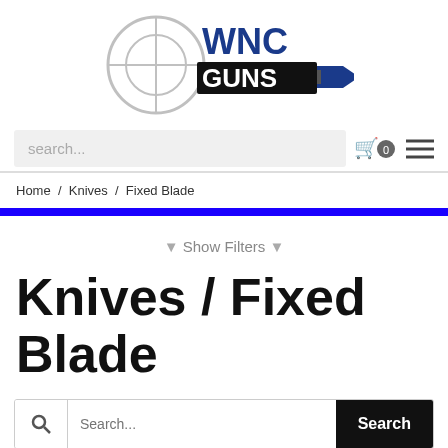[Figure (logo): WNC Guns logo with crosshair and bullet graphic. Text 'WNC' in blue bold above 'GUNS' in white on black rectangle, with blue bullet pointing right.]
search...
Home / Knives / Fixed Blade
▼ Show Filters ▼
Knives / Fixed Blade
Search...